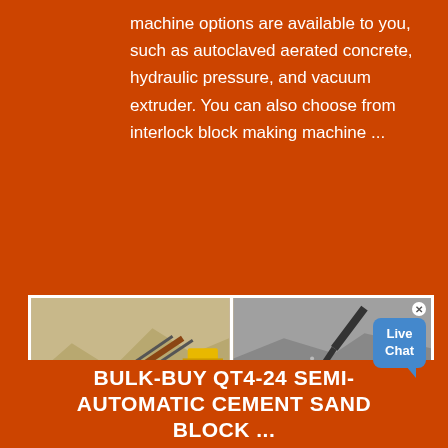machine options are available to you, such as autoclaved aerated concrete, hydraulic pressure, and vacuum extruder. You can also choose from interlock block making machine ...
[Figure (photo): Four-panel grid of industrial mining/quarrying machinery photos. Top-left: conveyor belt system at a mining site. Top-right: excavator or loader moving gravel/rock, with a Live Chat bubble overlay. Bottom-left: large dump truck being loaded by a conveyor. Bottom-right: yellow heavy construction equipment at a rocky quarry site.]
BULK-BUY QT4-24 SEMI-AUTOMATIC CEMENT SAND BLOCK ...